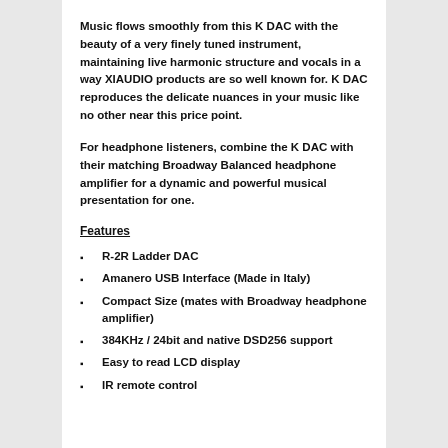Music flows smoothly from this K DAC with the beauty of a very finely tuned instrument, maintaining live harmonic structure and vocals in a way XIAUDIO products are so well known for. K DAC reproduces the delicate nuances in your music like no other near this price point.
For headphone listeners, combine the K DAC with their matching Broadway Balanced headphone amplifier for a dynamic and powerful musical presentation for one.
Features
R-2R Ladder DAC
Amanero USB Interface (Made in Italy)
Compact Size (mates with Broadway headphone amplifier)
384KHz / 24bit and native DSD256 support
Easy to read LCD display
IR remote control